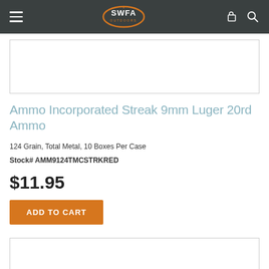SWFA Outdoors navigation bar
[Figure (other): Product image placeholder (white box with border)]
Ammo Incorporated Streak 9mm Luger 20rd Ammo
124 Grain, Total Metal, 10 Boxes Per Case
Stock# AMM9124TMCSTRKRED
$11.95
ADD TO CART
[Figure (other): Content image placeholder (white box with border)]